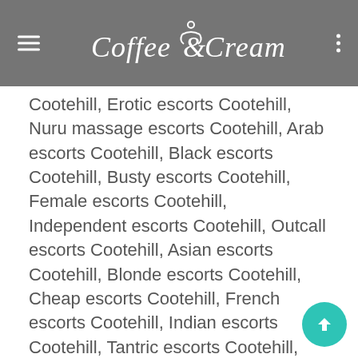Coffee & Cream
Cootehill, Erotic escorts Cootehill, Nuru massage escorts Cootehill, Arab escorts Cootehill, Black escorts Cootehill, Busty escorts Cootehill, Female escorts Cootehill, Independent escorts Cootehill, Outcall escorts Cootehill, Asian escorts Cootehill, Blonde escorts Cootehill, Cheap escorts Cootehill, French escorts Cootehill, Indian escorts Cootehill, Tantric escorts Cootehill, Bangladeshi escorts Cootehill, Brazilian escorts Cootehill, Chinese escorts Cootehill, Heathrow escorts Cootehill, Mature escorts Cootehill, United Kingdom escorts Cootehill, Northern Ireland escorts Cootehill, Cootehill escorts, cheap escorts in Cootehill, Caucasian escorts Cootehill, mixed escorts Cootehill, Scandinavian escorts Cootehill, Russian escorts Cootehill, skinny escorts Cootehill, last-